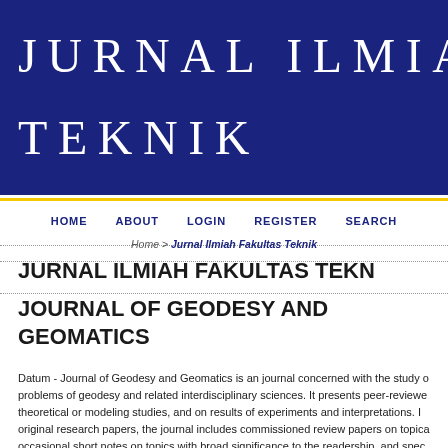JURNAL ILMIAH TEKNIK
HOME  ABOUT  LOGIN  REGISTER  SEARCH
Home > Jurnal Ilmiah Fakultas Teknik
JURNAL ILMIAH FAKULTAS TEKNIK
JOURNAL OF GEODESY AND GEOMATICS
Datum - Journal of Geodesy and Geomatics is an journal concerned with the study of problems of geodesy and related interdisciplinary sciences. It presents peer-reviewed theoretical or modeling studies, and on results of experiments and interpretations. In original research papers, the journal includes commissioned review papers on topics occasional short notes on topics with broad significance to the readership, and spec